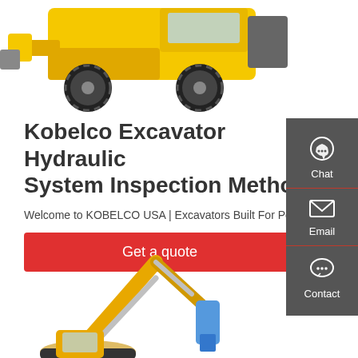[Figure (photo): Yellow Kobelco wheel loader / heavy construction machine, top portion visible against white background]
Kobelco Excavator Hydraulic System Inspection Method
Welcome to KOBELCO USA | Excavators Built For Power
[Figure (infographic): Red 'Get a quote' button]
[Figure (infographic): Dark grey sidebar with Chat, Email, Contact icons and labels]
[Figure (photo): Yellow and blue Kobelco excavator arm with hydraulic hammer attachment, bottom portion of page]